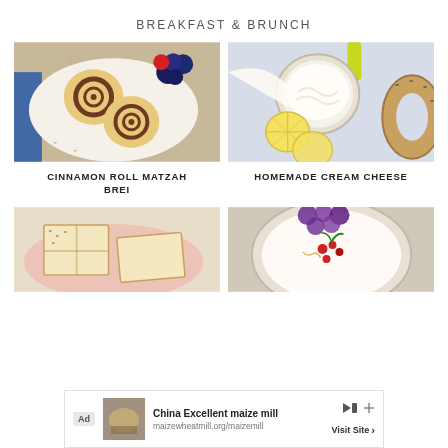BREAKFAST & BRUNCH
[Figure (photo): Overhead photo of cinnamon roll matzah brei with blueberries and red berries on a white plate]
[Figure (photo): Overhead photo of homemade cream cheese in a bowl with lemon slices and a bagel, with a yellow-handled knife]
CINNAMON ROLL MATZAH BREI
HOMEMADE CREAM CHEESE
[Figure (photo): Overhead photo of savory pastry or blintz cut into squares on a pink plate]
[Figure (photo): Overhead photo of a dip or yogurt in a bowl with grapes and pomegranate seeds]
Ad  China Excellent maize mill  maizewheatmill.org/maizemill  Visit Site